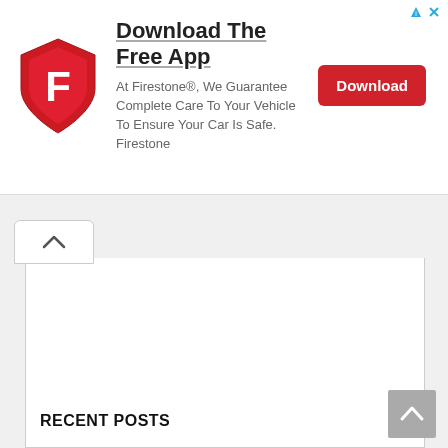[Figure (screenshot): Firestone app advertisement banner with shield logo, headline 'Download The Free App', body text, and red Download button]
Download The Free App
At Firestone®, We Guarantee Complete Care To Your Vehicle To Ensure Your Car Is Safe. Firestone
Download
[Figure (screenshot): Collapsed tab with upward chevron arrow indicating scroll up]
[Figure (screenshot): Large empty white content area of a webpage]
RECENT POSTS
[Figure (screenshot): Gray scroll-to-top button with upward chevron in bottom right corner]